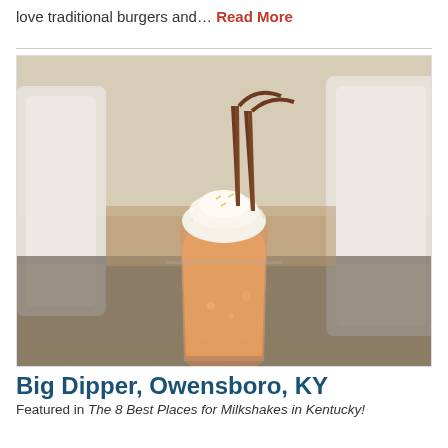love traditional burgers and... Read More
[Figure (photo): A tall glass of an orange/amber drink topped with whipped cream and two chocolate straws, sitting on a glass table outdoors with white chairs in the background.]
Big Dipper, Owensboro, KY
Featured in The 8 Best Places for Milkshakes in Kentucky!